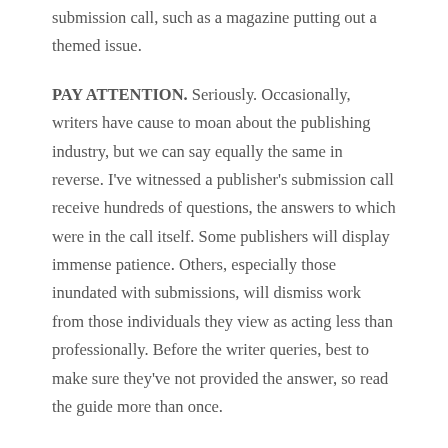submission call, such as a magazine putting out a themed issue.
PAY ATTENTION. Seriously. Occasionally, writers have cause to moan about the publishing industry, but we can say equally the same in reverse. I've witnessed a publisher's submission call receive hundreds of questions, the answers to which were in the call itself. Some publishers will display immense patience. Others, especially those inundated with submissions, will dismiss work from those individuals they view as acting less than professionally. Before the writer queries, best to make sure they've not provided the answer, so read the guide more than once.
Another good reason to read guidelines is it's amazing how many writers waste their time and that of agents and publishers by submitting the wrong thing to the wrong market. I'm not talking about not *quite understanding*